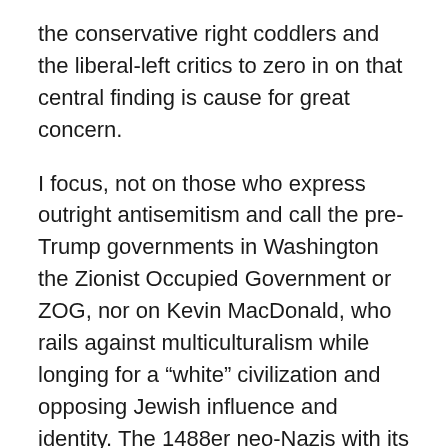the conservative right coddlers and the liberal-left critics to zero in on that central finding is cause for great concern.
I focus, not on those who express outright antisemitism and call the pre-Trump governments in Washington the Zionist Occupied Government or ZOG, nor on Kevin MacDonald, who rails against multiculturalism while longing for a “white” civilization and opposing Jewish influence and identity. The 1488er neo-Nazis with its 14 word credo to secure the White Race and its promotion of the eighth letter of the alphabet repeated, that is, HH for Heil Hitler, The (((echo))) which claims that, “all Jewish surnames echo throughout history,” David Duke as the born-again Ku-Klux-Klaner who focuses on “Jewish supremacism,” and the neo-Nazi group, The Order, that bombed synagogues in Washington state and murdered Alan Berg and distilled and put to work at suicide. S